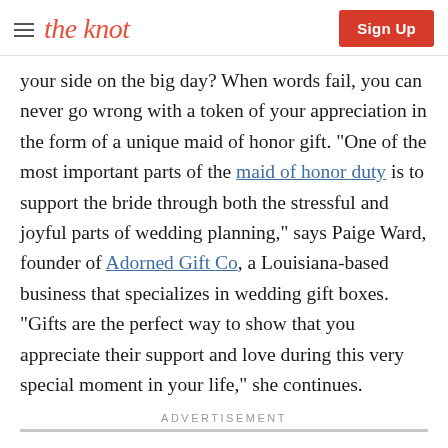the knot | Sign Up
your side on the big day? When words fail, you can never go wrong with a token of your appreciation in the form of a unique maid of honor gift. "One of the most important parts of the maid of honor duty is to support the bride through both the stressful and joyful parts of wedding planning," says Paige Ward, founder of Adorned Gift Co, a Louisiana-based business that specializes in wedding gift boxes. "Gifts are the perfect way to show that you appreciate their support and love during this very special moment in your life," she continues.
ADVERTISEMENT